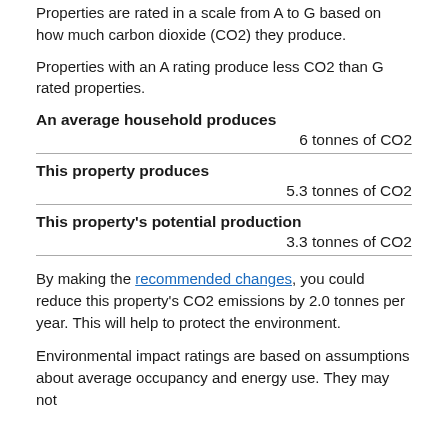Properties are rated in a scale from A to G based on how much carbon dioxide (CO2) they produce.
Properties with an A rating produce less CO2 than G rated properties.
An average household produces
6 tonnes of CO2
This property produces
5.3 tonnes of CO2
This property's potential production
3.3 tonnes of CO2
By making the recommended changes, you could reduce this property's CO2 emissions by 2.0 tonnes per year. This will help to protect the environment.
Environmental impact ratings are based on assumptions about average occupancy and energy use. They may not